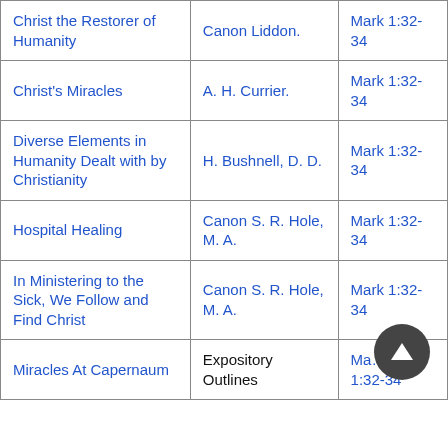| Christ the Restorer of Humanity | Canon Liddon. | Mark 1:32-34 |
| Christ's Miracles | A. H. Currier. | Mark 1:32-34 |
| Diverse Elements in Humanity Dealt with by Christianity | H. Bushnell, D. D. | Mark 1:32-34 |
| Hospital Healing | Canon S. R. Hole, M. A. | Mark 1:32-34 |
| In Ministering to the Sick, We Follow and Find Christ | Canon S. R. Hole, M. A. | Mark 1:32-34 |
| Miracles At Capernaum | Expository Outlines | Mark 1:32-34 |